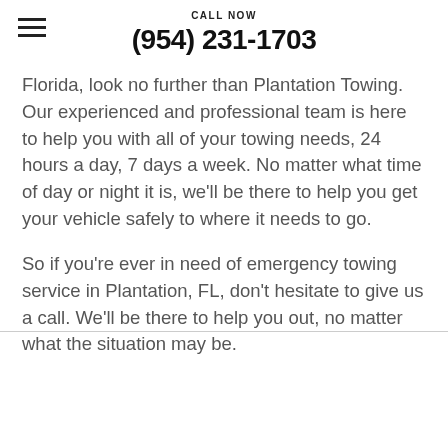CALL NOW
(954) 231-1703
Florida, look no further than Plantation Towing. Our experienced and professional team is here to help you with all of your towing needs, 24 hours a day, 7 days a week. No matter what time of day or night it is, we'll be there to help you get your vehicle safely to where it needs to go.
So if you're ever in need of emergency towing service in Plantation, FL, don't hesitate to give us a call. We'll be there to help you out, no matter what the situation may be.